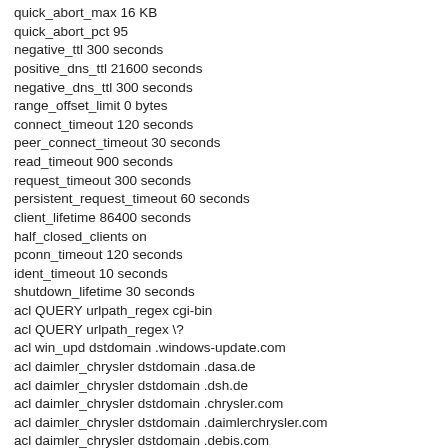quick_abort_max 16 KB
quick_abort_pct 95
negative_ttl 300 seconds
positive_dns_ttl 21600 seconds
negative_dns_ttl 300 seconds
range_offset_limit 0 bytes
connect_timeout 120 seconds
peer_connect_timeout 30 seconds
read_timeout 900 seconds
request_timeout 300 seconds
persistent_request_timeout 60 seconds
client_lifetime 86400 seconds
half_closed_clients on
pconn_timeout 120 seconds
ident_timeout 10 seconds
shutdown_lifetime 30 seconds
acl QUERY urlpath_regex cgi-bin
acl QUERY urlpath_regex \?
acl win_upd dstdomain .windows-update.com
acl daimler_chrysler dstdomain .dasa.de
acl daimler_chrysler dstdomain .dsh.de
acl daimler_chrysler dstdomain .chrysler.com
acl daimler_chrysler dstdomain .daimlerchrysler.com
acl daimler_chrysler dstdomain .debis.com
acl daimler_chrysler dstdomain .dcx.com